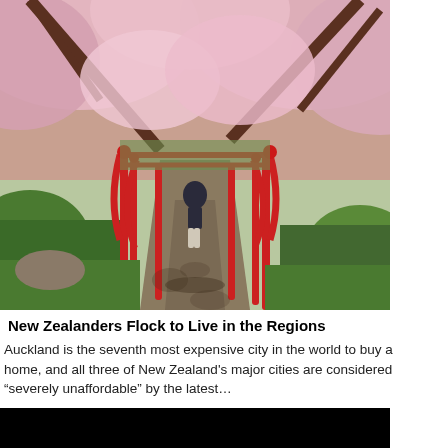[Figure (photo): A person walking across a red Japanese-style bridge surrounded by pink cherry blossom trees in full bloom, with lush green garden scenery in the background.]
New Zealanders Flock to Live in the Regions
Auckland is the seventh most expensive city in the world to buy a home, and all three of New Zealand's major cities are considered “severely unaffordable” by the latest…
[Figure (photo): A dark/black image, likely the beginning of a second article photo that is mostly cut off at the bottom of the page.]